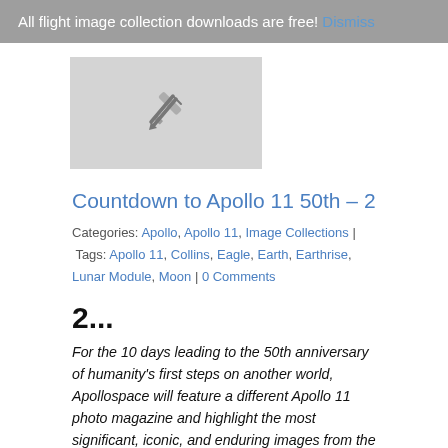All flight image collection downloads are free! Dismiss
[Figure (illustration): Thumbnail placeholder with a pencil/pen icon on grey background]
Countdown to Apollo 11 50th – 2
Categories: Apollo, Apollo 11, Image Collections | Tags: Apollo 11, Collins, Eagle, Earth, Earthrise, Lunar Module, Moon | 0 Comments
2...
For the 10 days leading to the 50th anniversary of humanity's first steps on another world, Apollospace will feature a different Apollo 11 photo magazine and highlight the most significant, iconic, and enduring images from the Apollo 11 mission and in the history of photography. Apollo 11 Magazine 44/V contains 157 color images, NASA #s AS11-44-6540 to AS11-44-6696. This Magazine contains photographs of the lunar surface, a beautiful color Earthrise, LM separation, the LM